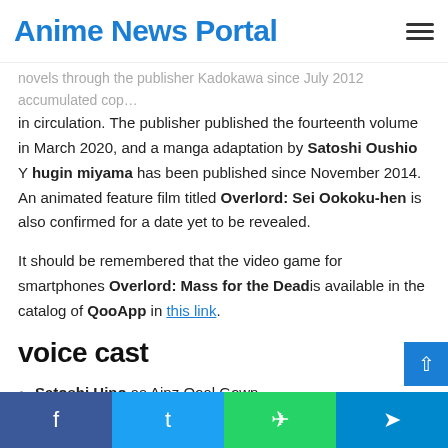Anime News Portal
novels through the publisher Kadokawa since July 2012 accumulated cop…
in circulation. The publisher published the fourteenth volume in March 2020, and a manga adaptation by Satoshi Oushio Y hugin miyama has been published since November 2014. An animated feature film titled Overlord: Sei Ookoku-hen is also confirmed for a date yet to be revealed.
It should be remembered that the video game for smartphones Overlord: Mass for the Dead is available in the catalog of QooApp in this link.
voice cast
Satoshi Hino as Ainz Ooal Gown.
yumi hara like Albedo.
f  t  WhatsApp  Telegram